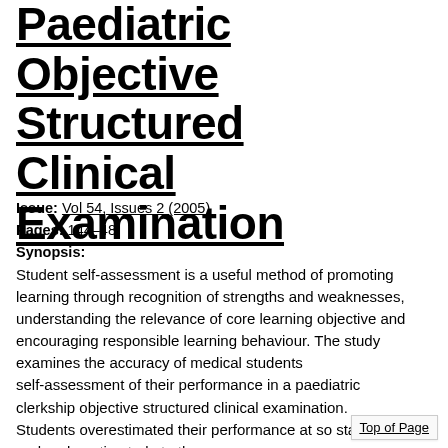Paediatric Objective Structured Clinical Examination
Issue: Vol 54, Issues 2 (2005)
Pages: 144–48
Synopsis:
Student self-assessment is a useful method of promoting learning through recognition of strengths and weaknesses, understanding the relevance of core learning objective and encouraging responsible learning behaviour. The study examines the accuracy of medical students self-assessment of their performance in a paediatric clerkship objective structured clinical examination. Students overestimated their performance at so stations and underestimated at others
Top of Page